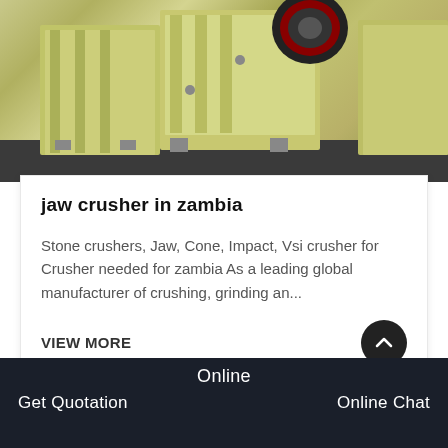[Figure (photo): Yellow jaw crusher machines in a factory or warehouse setting, multiple units lined up, showing heavy industrial crushing equipment with red pulley visible]
jaw crusher in zambia
Stone crushers, Jaw, Cone, Impact, Vsi crusher for Crusher needed for zambia As a leading global manufacturer of crushing, grinding an...
VIEW MORE
[Figure (photo): Partial view of a factory building with a small document/image icon on the left side]
Online
Get Quotation    Online Chat